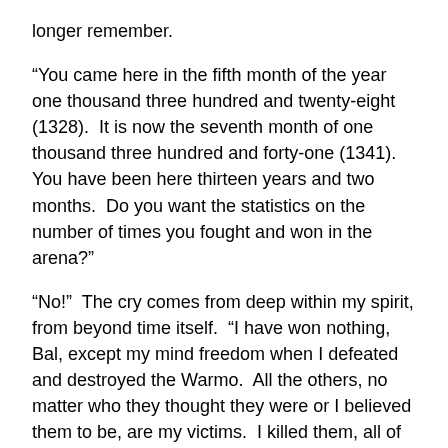longer remember.
“You came here in the fifth month of the year one thousand three hundred and twenty-eight (1328).  It is now the seventh month of one thousand three hundred and forty-one (1341). You have been here thirteen years and two months.  Do you want the statistics on the number of times you fought and won in the arena?”
“No!”  The cry comes from deep within my spirit, from beyond time itself.  “I have won nothing, Bal, except my mind freedom when I defeated and destroyed the Warmo.  All the others, no matter who they thought they were or I believed them to be, are my victims.  I killed them, all of them.  Yes, it could be said I had no choice, but I had.  I came here of choice.  Yes it could be said I wanted to help the women of this world and that remains as true today as